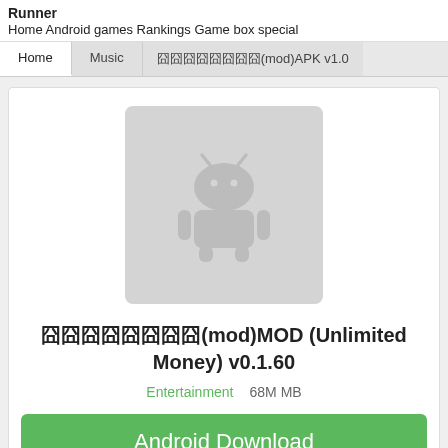Runner
Home Android games Rankings Game box special
Home | Music | 囧囧囧囧囧囧囧囧(mod)APK v1.0
[Figure (logo): Android robot logo placeholder icon on gray background]
囧囧囧囧囧囧囧囧(mod)MOD (Unlimited Money) v0.1.60
Entertainment   68M MB
Android Download